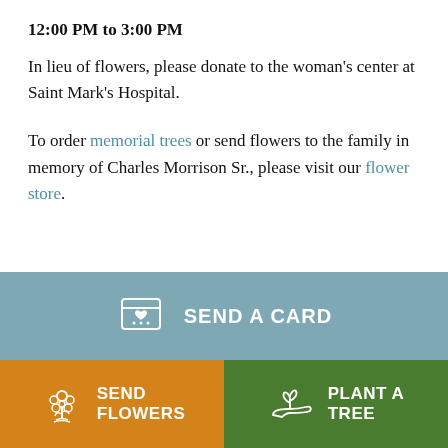12:00 PM to 3:00 PM
In lieu of flowers, please donate to the woman's center at Saint Mark's Hospital.
To order memorial trees or send flowers to the family in memory of Charles Morrison Sr., please visit our flower store.
[Figure (other): Send a Card button with card/heart icon]
[Figure (other): Send Flowers button with flower bouquet icon and Plant a Tree button with hand/plant icon]